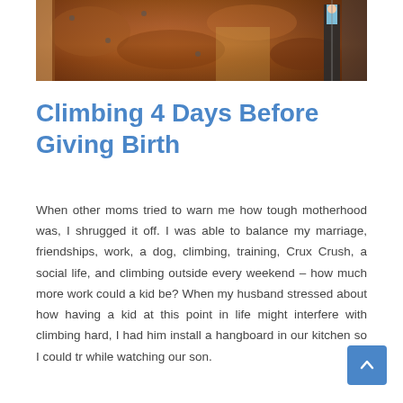[Figure (photo): Photo of a climbing wall with a person standing near it, warm reddish-brown tones]
Climbing 4 Days Before Giving Birth
When other moms tried to warn me how tough motherhood was, I shrugged it off. I was able to balance my marriage, friendships, work, a dog, climbing, training, Crux Crush, a social life, and climbing outside every weekend – how much more work could a kid be? When my husband stressed about how having a kid at this point in life might interfere with climbing hard, I had him install a hangboard in our kitchen so I could tr while watching our son.